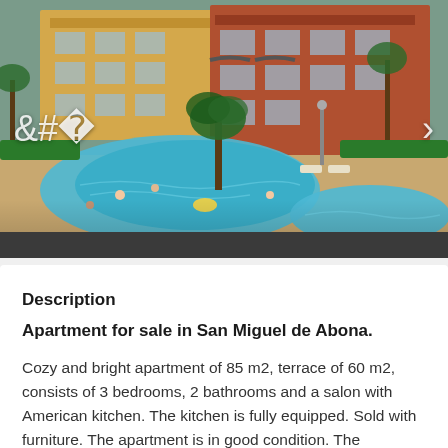[Figure (photo): Aerial/elevated view of a resort complex with swimming pools, tropical palm trees, and multi-storey residential buildings in warm yellow and red tones. Two navigation arrows (left/right) visible on the sides of the image carousel.]
Description
Apartment for sale in San Miguel de Abona.
Cozy and bright apartment of 85 m2, terrace of 60 m2, consists of 3 bedrooms, 2 bathrooms and a salon with American kitchen. The kitchen is fully equipped. Sold with furniture. The apartment is in good condition. The